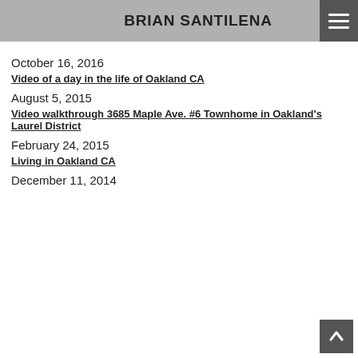BRIAN SANTILENA
October 16, 2016
Video of a day in the life of Oakland CA
August 5, 2015
Video walkthrough 3685 Maple Ave. #6 Townhome in Oakland's Laurel District
February 24, 2015
Living in Oakland CA
December 11, 2014